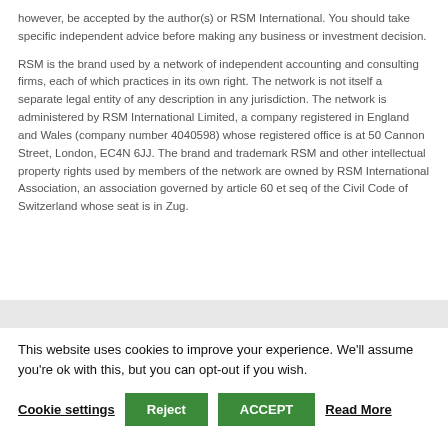however, be accepted by the author(s) or RSM International. You should take specific independent advice before making any business or investment decision.
RSM is the brand used by a network of independent accounting and consulting firms, each of which practices in its own right. The network is not itself a separate legal entity of any description in any jurisdiction. The network is administered by RSM International Limited, a company registered in England and Wales (company number 4040598) whose registered office is at 50 Cannon Street, London, EC4N 6JJ. The brand and trademark RSM and other intellectual property rights used by members of the network are owned by RSM International Association, an association governed by article 60 et seq of the Civil Code of Switzerland whose seat is in Zug.
This website uses cookies to improve your experience. We'll assume you're ok with this, but you can opt-out if you wish.
Cookie settings | Reject | ACCEPT | Read More